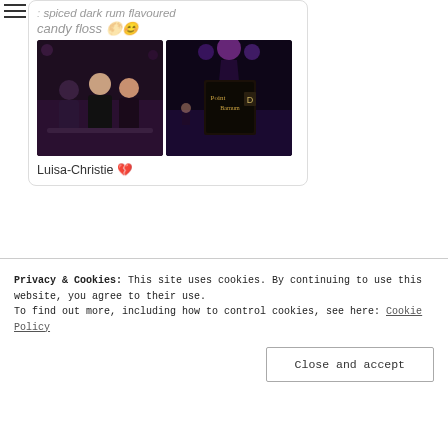[Figure (photo): Social media post card with two nightclub photos: left photo shows three people sitting at a table in a dark venue, right photo shows a stage/bar area with purple lights and a chalkboard sign reading 'Point Barnam']
spiced dark rum flavoured candy floss 🌕😊
Luisa-Christie 💔
BLOGLOVIN'
[Figure (logo): + BLOGLOVIN' button in black rectangle]
Privacy & Cookies: This site uses cookies. By continuing to use this website, you agree to their use. To find out more, including how to control cookies, see here: Cookie Policy
Close and accept